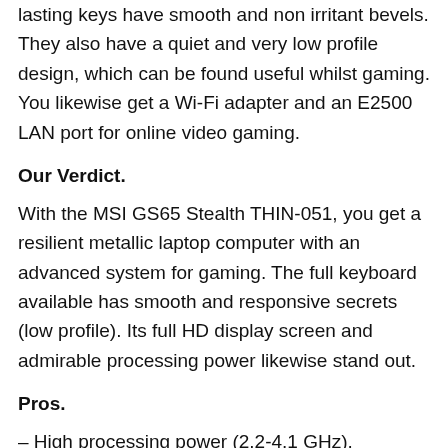lasting keys have smooth and non irritant bevels. They also have a quiet and very low profile design, which can be found useful whilst gaming. You likewise get a Wi-Fi adapter and an E2500 LAN port for online video gaming.
Our Verdict.
With the MSI GS65 Stealth THIN-051, you get a resilient metallic laptop computer with an advanced system for gaming. The full keyboard available has smooth and responsive secrets (low profile). Its full HD display screen and admirable processing power likewise stand out.
Pros.
– High processing power (2.2-4.1 GHz).